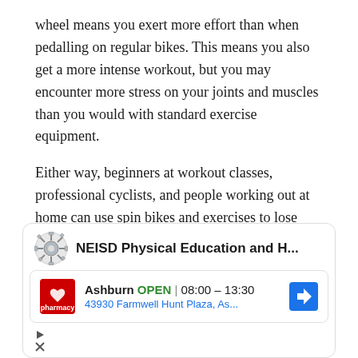wheel means you exert more effort than when pedalling on regular bikes. This means you also get a more intense workout, but you may encounter more stress on your joints and muscles than you would with standard exercise equipment.
Either way, beginners at workout classes, professional cyclists, and people working out at home can use spin bikes and exercises to lose weight and gain muscle at their own pace. Both options will target the glutes, thighs and calves, though spin bikes can give you more intensive workouts.
[Figure (screenshot): Advertisement panel showing NEISD Physical Education and H... with a CVS Pharmacy ad for Ashburn location. Shows OPEN 08:00-13:30, address 43930 Farmwell Hunt Plaza, As... with navigation icon.]